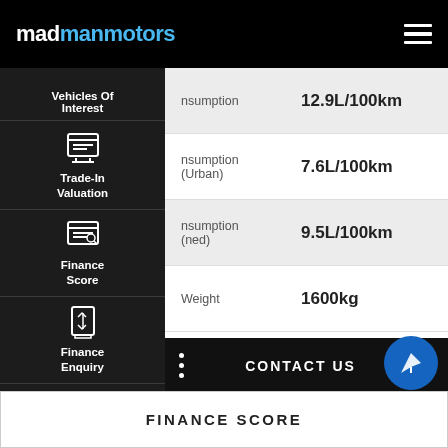madmanmotors
[Figure (screenshot): Mobile website screenshot of madmanmotors.com.au showing navigation sidebar with menu items: Vehicles Of Interest, Trade-In Valuation, Finance Score, Finance Enquiry, Book A Test Drive, Click To Buy. Main content area shows vehicle specifications: fuel consumption 12.9L/100km, fuel consumption extra-urban 7.6L/100km, fuel consumption combined 9.5L/100km, weight 1600kg. Bottom bars show CONTACT US and FINANCE SCORE buttons with a blue circle button overlay.]
nsumption
12.9L/100km
nsumption (Urban)
7.6L/100km
nsumption (ned)
9.5L/100km
Weight
1600kg
CONTACT US
FINANCE SCORE